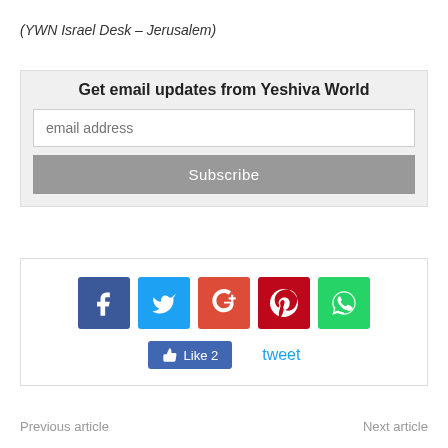(YWN Israel Desk – Jerusalem)
Get email updates from Yeshiva World
[Figure (screenshot): Email subscription form with email address input field and Subscribe button]
[Figure (infographic): Social sharing icons: Facebook, Twitter, Google+, Pinterest, WhatsApp, and Like/Tweet buttons]
Previous article
Next article